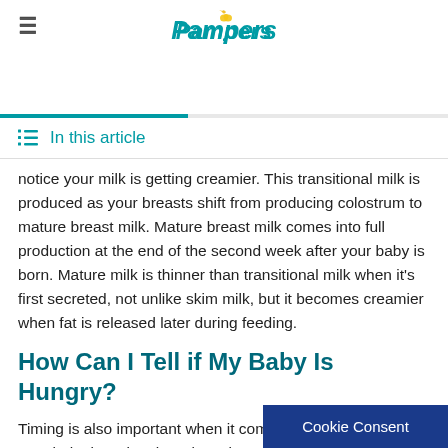Pampers
In this article
notice your milk is getting creamier. This transitional milk is produced as your breasts shift from producing colostrum to mature breast milk. Mature breast milk comes into full production at the end of the second week after your baby is born. Mature milk is thinner than transitional milk when it's first secreted, not unlike skim milk, but it becomes creamier when fat is released later during feeding.
How Can I Tell if My Baby Is Hungry?
Timing is also important when it comes to breastfeeding. If your baby is crying, it's a late sign of hunger, and an unhappy baby may have trouble latching on. Look out for telltale signs of hunger; for example